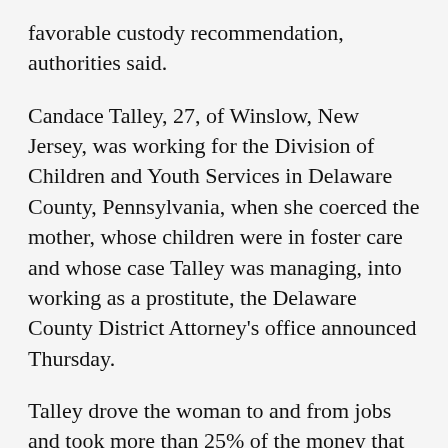favorable custody recommendation, authorities said.
Candace Talley, 27, of Winslow, New Jersey, was working for the Division of Children and Youth Services in Delaware County, Pennsylvania, when she coerced the mother, whose children were in foster care and whose case Talley was managing, into working as a prostitute, the Delaware County District Attorney's office announced Thursday.
Talley drove the woman to and from jobs and took more than 25% of the money that was made, authorities said. Talley also promised the woman she would help falsify her drug test results to help her case. Talley was part of an “extensive